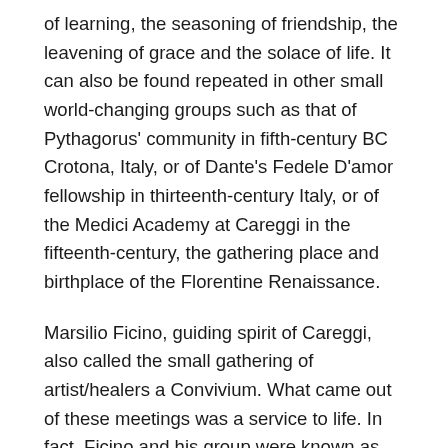of learning, the seasoning of friendship, the leavening of grace and the solace of life. It can also be found repeated in other small world-changing groups such as that of Pythagorus' community in fifth-century BC Crotona, Italy, or of Dante's Fedele D'amor fellowship in thirteenth-century Italy, or of the Medici Academy at Careggi in the fifteenth-century, the gathering place and birthplace of the Florentine Renaissance.
Marsilio Ficino, guiding spirit of Careggi, also called the small gathering of artist/healers a Convivium. What came out of these meetings was a service to life. In fact, Ficino and his group were known as the “friends of humanity.”³
All that being the case, my point of entry on this